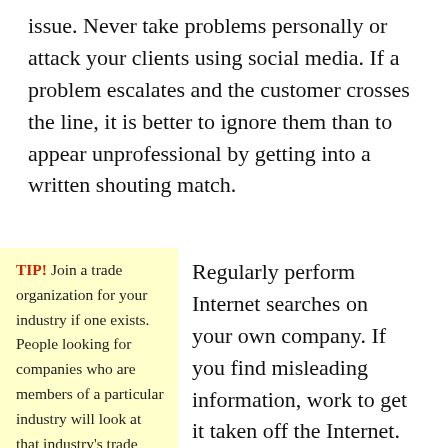issue. Never take problems personally or attack your clients using social media. If a problem escalates and the customer crosses the line, it is better to ignore them than to appear unprofessional by getting into a written shouting match.
TIP! Join a trade organization for your industry if one exists. People looking for companies who are members of a particular industry will look at that industry's trade
Regularly perform Internet searches on your own company. If you find misleading information, work to get it taken off the Internet. Reputable site owners will do this in a heartbeat.